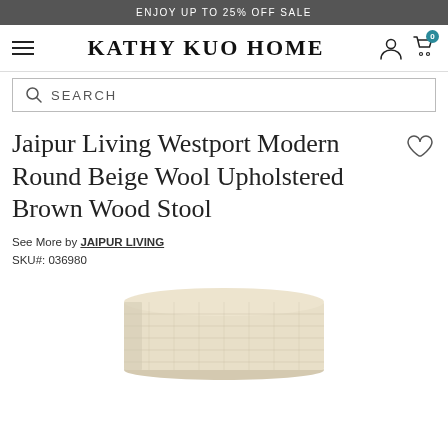ENJOY UP TO 25% OFF SALE
KATHY KUO HOME
SEARCH
Jaipur Living Westport Modern Round Beige Wool Upholstered Brown Wood Stool
See More by JAIPUR LIVING
SKU#: 036980
[Figure (photo): A round cream/beige knit wool upholstered stool with brown wood base, viewed from a slight angle showing top and side texture of the chunky woven fabric.]